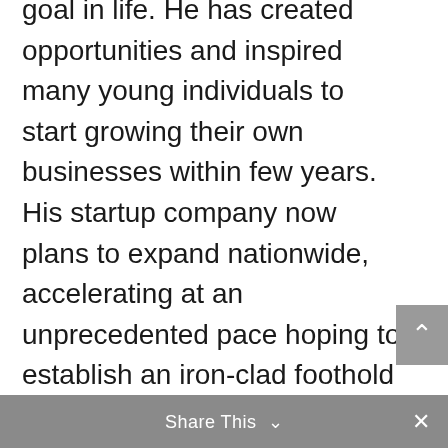goal in life. He has created opportunities and inspired many young individuals to start growing their own businesses within few years. His startup company now plans to expand nationwide, accelerating at an unprecedented pace hoping to establish an iron-clad foothold coming days ahead.
Share This ∨  ✕